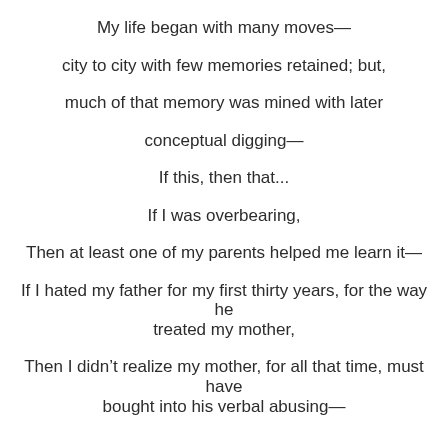My life began with many moves—
city to city with few memories retained; but,
much of that memory was mined with later
conceptual digging—
If this, then that...
If I was overbearing,
Then at least one of my parents helped me learn it—
If I hated my father for my first thirty years, for the way he treated my mother,
Then I didn't realize my mother, for all that time, must have bought into his verbal abusing—